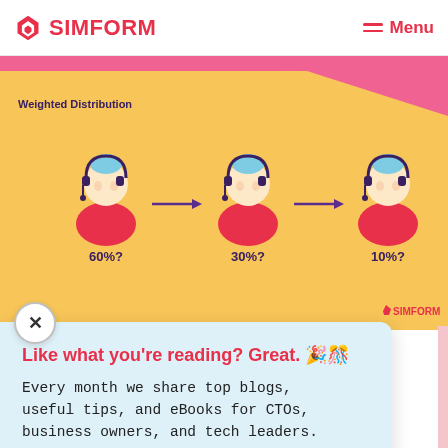SIMFORM — Menu
[Figure (infographic): Weighted Distribution infographic showing three customer service agent icons connected by arrows, labeled 60%?, 30%?, 10%? on a yellow/orange background with pink top strip. SIMFORM watermark bottom right.]
Like what you're reading? Great. 🎉🎊
Every month we share top blogs, useful tips, and eBooks for CTOs, business owners, and tech leaders.
Email   SUBSCRIBE!
On Voi tion with